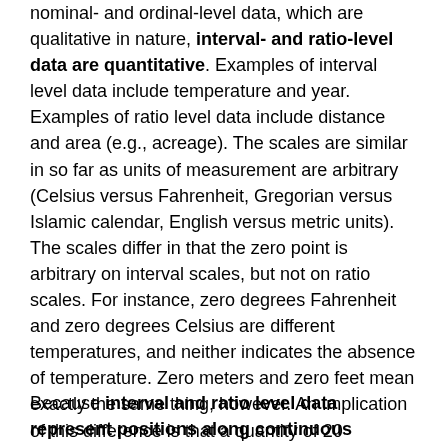nominal- and ordinal-level data, which are qualitative in nature, interval- and ratio-level data are quantitative. Examples of interval level data include temperature and year. Examples of ratio level data include distance and area (e.g., acreage). The scales are similar in so far as units of measurement are arbitrary (Celsius versus Fahrenheit, Gregorian versus Islamic calendar, English versus metric units). The scales differ in that the zero point is arbitrary on interval scales, but not on ratio scales. For instance, zero degrees Fahrenheit and zero degrees Celsius are different temperatures, and neither indicates the absence of temperature. Zero meters and zero feet mean exactly the same thing, however. An implication of this difference is that a quantity of 20 measured at the ratio scale is twice the value of 10, a relation that does not hold true for quantities measured at the interval level (20 degrees is not twice as warm as 10 degrees).
Because interval and ratio level data represent positions along continuous number lines, rather